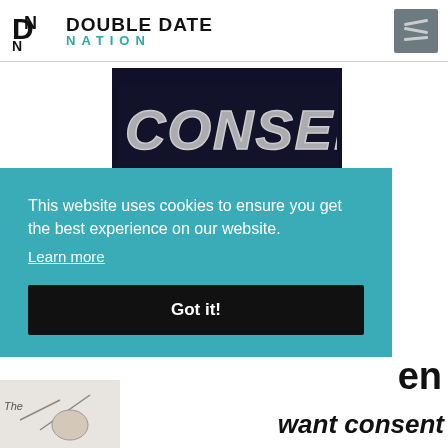DOUBLE DATE NATION
[Figure (photo): Dark background with silver balloon-style letters spelling CONSENT]
This website uses cookies to ensure you get the best experience on our website.
Learn more
Got it!
en
want consent